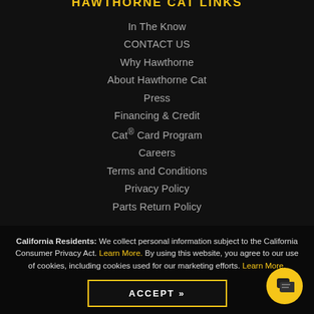HAWTHORNE CAT LINKS
In The Know
CONTACT US
Why Hawthorne
About Hawthorne Cat
Press
Financing & Credit
Cat® Card Program
Careers
Terms and Conditions
Privacy Policy
Parts Return Policy
California Residents: We collect personal information subject to the California Consumer Privacy Act. Learn More. By using this website, you agree to our use of cookies, including cookies used for our marketing efforts. Learn More.
ACCEPT »